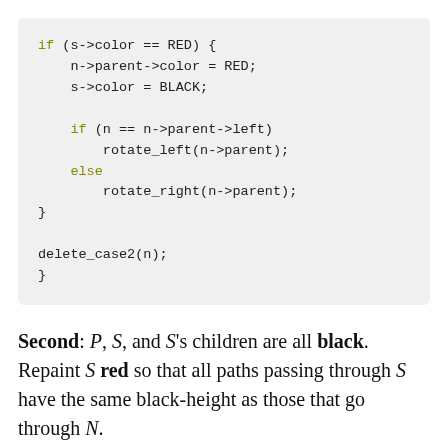[Figure (other): Code block showing a C/C++ if-else snippet for red-black tree deletion case handling, ending with delete_case2(n);]
Second: P, S, and S's children are all black. Repaint S red so that all paths passing through S have the same black-height as those that go through N.